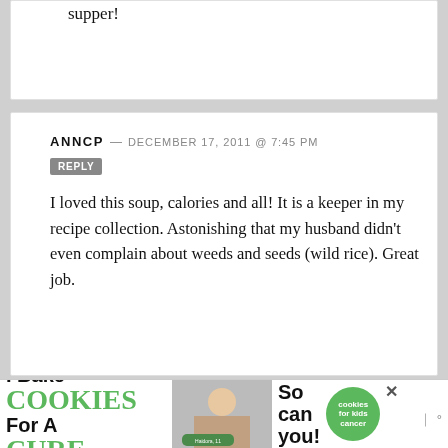supper!
ANNCP — DECEMBER 17, 2011 @ 7:45 PM
REPLY
I loved this soup, calories and all! It is a keeper in my recipe collection. Astonishing that my husband didn't even complain about weeds and seeds (wild rice). Great job.
FARMGIRL — DECEMBER 18, 2011 @
1:19 PM REPLY
[Figure (infographic): Advertisement banner: I Bake COOKIES For A CURE - So can you! with cookies for kids cancer badge, photo of smiling girl, Haidora 11 Cancer Survivor label, and close/W icons]